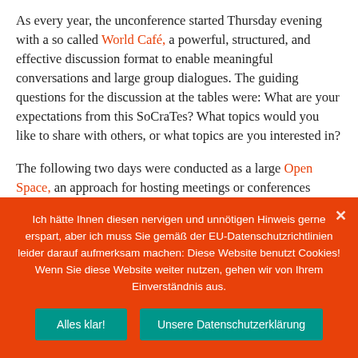As every year, the unconference started Thursday evening with a so called World Café, a powerful, structured, and effective discussion format to enable meaningful conversations and large group dialogues. The guiding questions for the discussion at the tables were: What are your expectations from this SoCraTes? What topics would you like to share with others, or what topics are you interested in?
The following two days were conducted as a large Open Space, an approach for hosting meetings or conferences without a fixed agenda. Due to the numerous available conference rooms in the venue there were space for about
Ich hätte Ihnen diesen nervigen und unnötigen Hinweis gerne erspart, aber ich muss Sie gemäß der EU-Datenschutzrichtlinien leider darauf aufmerksam machen: Diese Website benutzt Cookies! Wenn Sie diese Website weiter nutzen, gehen wir von Ihrem Einverständnis aus.